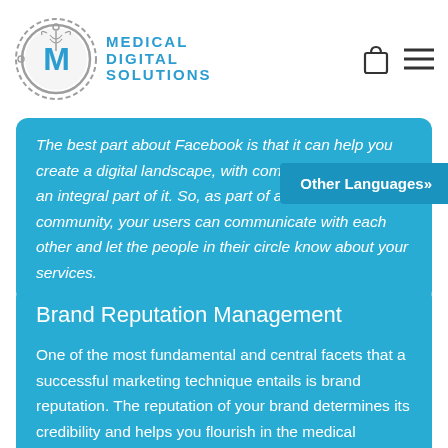[Figure (logo): Medical Digital Solutions logo — circular emblem with a stylized M and caduceus symbol, grey ring with dashed arc, next to blue text reading MEDICAL DIGITAL SOLUTIONS]
The best part about Facebook is that it can help you create a digital landscape, with community members an integral part of it. So, as part of a strong community, your users can communicate with each other and let the people in their circle know about your services.
Other Languages»
Brand Reputation Management
One of the most fundamental and central facets that a successful marketing technique entails is brand reputation. The reputation of your brand determines its credibility and helps you flourish in the medical industry. Our focus is on improving the overall bottom line of your